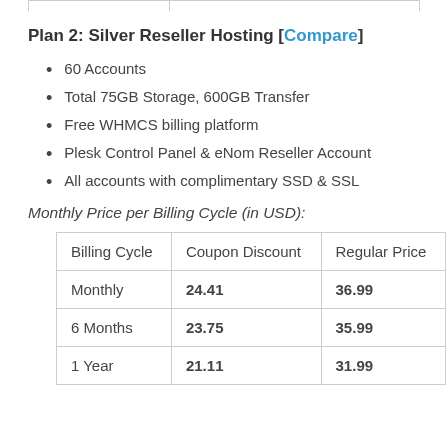Plan 2: Silver Reseller Hosting [Compare]
60 Accounts
Total 75GB Storage, 600GB Transfer
Free WHMCS billing platform
Plesk Control Panel & eNom Reseller Account
All accounts with complimentary SSD & SSL
Monthly Price per Billing Cycle (in USD):
| Billing Cycle | Coupon Discount | Regular Price |
| --- | --- | --- |
| Monthly | 24.41 | 36.99 |
| 6 Months | 23.75 | 35.99 |
| 1 Year | 21.11 | 31.99 |